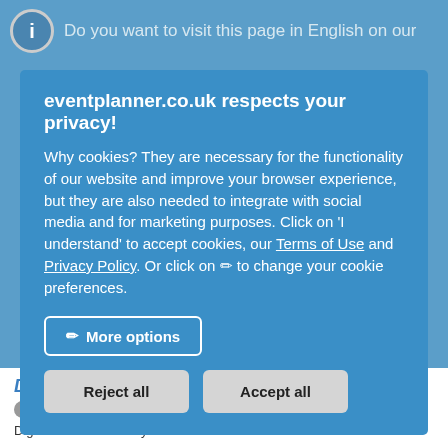Do you want to visit this page in English on our
eventplanner.co.uk respects your privacy!
Why cookies? They are necessary for the functionality of our website and improve your browser experience, but they are also needed to integrate with social media and for marketing purposes. Click on 'I understand' to accept cookies, our Terms of Use and Privacy Policy. Or click on ✏ to change your cookie preferences.
More options
Reject all
Accept all
Digbeth • Fazeley Studios
Write review | Birmingham (1.3 km)
Digbeth offers a variety of conventional and unconventional